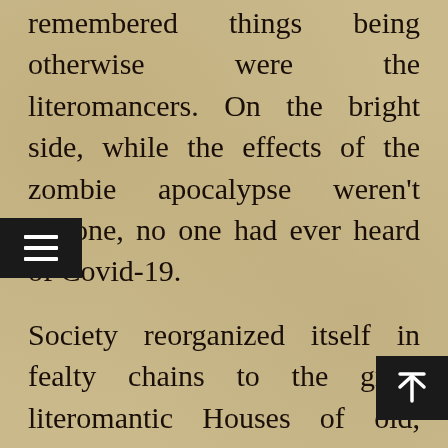remembered things being otherwise were the literomancers. On the bright side, while the effects of the zombie apocalypse weren't undone, no one had ever heard of Covid-19.
Society reorganized itself in fealty chains to the great literomantic Houses of old, believing (correctly) that only they had any chance of defending people from the zombies, should they return. Suddenly, the Minor Houses found themselves the rulers of kingdoms, and the Major Houses...